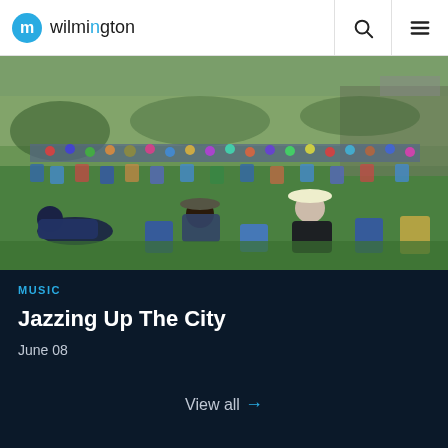wilmington
[Figure (photo): Outdoor jazz festival with large crowd sitting on grass in lawn chairs, watching a stage performance in an urban park setting.]
MUSIC
Jazzing Up The City
June 08
View all →